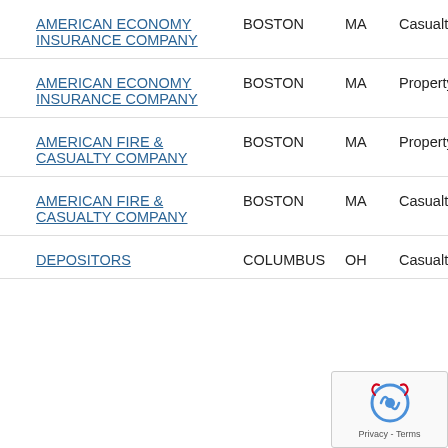| Company | City | State | Type | Date |
| --- | --- | --- | --- | --- |
| AMERICAN ECONOMY INSURANCE COMPANY | BOSTON | MA | Casualty | Sep 11, 2019 |
| AMERICAN ECONOMY INSURANCE COMPANY | BOSTON | MA | Property | Sep 11, 2019 |
| AMERICAN FIRE & CASUALTY COMPANY | BOSTON | MA | Property | Aug 11, 2016 |
| AMERICAN FIRE & CASUALTY COMPANY | BOSTON | MA | Casualty | Aug 11, |
| DEPOSITORS | COLUMBUS | OH | Casualty | Apr |